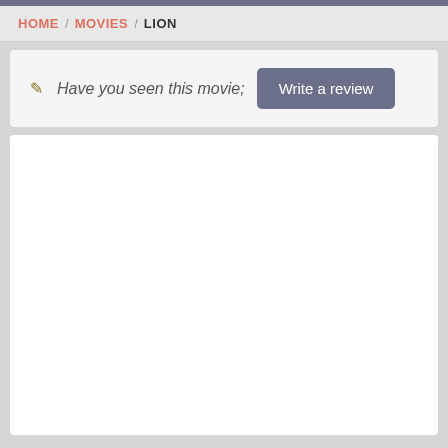HOME / MOVIES / LION
✎ Have you seen this movie; Write a review